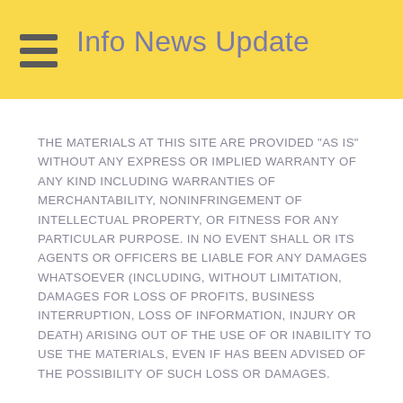Info News Update
THE MATERIALS AT THIS SITE ARE PROVIDED “AS IS” WITHOUT ANY EXPRESS OR IMPLIED WARRANTY OF ANY KIND INCLUDING WARRANTIES OF MERCHANTABILITY, NONINFRINGEMENT OF INTELLECTUAL PROPERTY, OR FITNESS FOR ANY PARTICULAR PURPOSE. IN NO EVENT SHALL OR ITS AGENTS OR OFFICERS BE LIABLE FOR ANY DAMAGES WHATSOEVER (INCLUDING, WITHOUT LIMITATION, DAMAGES FOR LOSS OF PROFITS, BUSINESS INTERRUPTION, LOSS OF INFORMATION, INJURY OR DEATH) ARISING OUT OF THE USE OF OR INABILITY TO USE THE MATERIALS, EVEN IF HAS BEEN ADVISED OF THE POSSIBILITY OF SUCH LOSS OR DAMAGES.